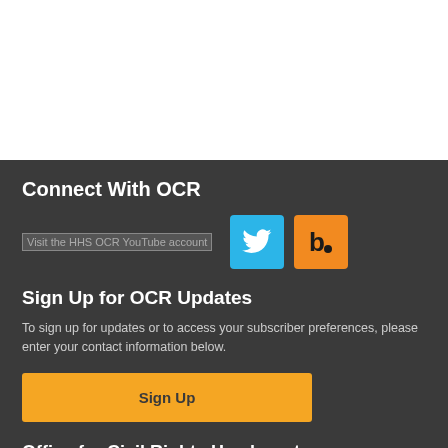Connect With OCR
[Figure (other): Social media icons row: YouTube placeholder image, Twitter bird icon (blue), and blog icon (orange)]
Sign Up for OCR Updates
To sign up for updates or to access your subscriber preferences, please enter your contact information below.
Sign Up
Office for Civil Rights Headquarters
U.S. Department of Health & Human Services